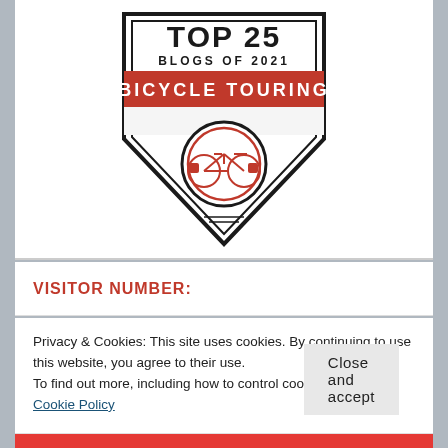[Figure (logo): Top Blogs of 2021 Bicycle Touring badge — shield shape with red banner reading BICYCLE TOURING, circle with touring bicycle icon, text TOP 25 BLOGS OF 2021]
VISITOR NUMBER:
Privacy & Cookies: This site uses cookies. By continuing to use this website, you agree to their use.
To find out more, including how to control cookies, see here: Cookie Policy
Close and accept